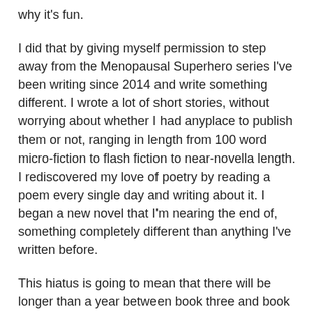why it's fun.
I did that by giving myself permission to step away from the Menopausal Superhero series I've been writing since 2014 and write something different. I wrote a lot of short stories, without worrying about whether I had anyplace to publish them or not, ranging in length from 100 word micro-fiction to flash fiction to near-novella length. I rediscovered my love of poetry by reading a poem every single day and writing about it. I began a new novel that I'm nearing the end of, something completely different than anything I've written before.
This hiatus is going to mean that there will be longer than a year between book three and book four of my series. But, it's also going to mean that when I come back to those characters and that world, I will do so with a feeling of reuniting with old friends. The book will be the better for it. I'll trust to forward momentum to help me find readers for it when I get there.
So, I feel like my 2017 was spent well. I'm definitely getting